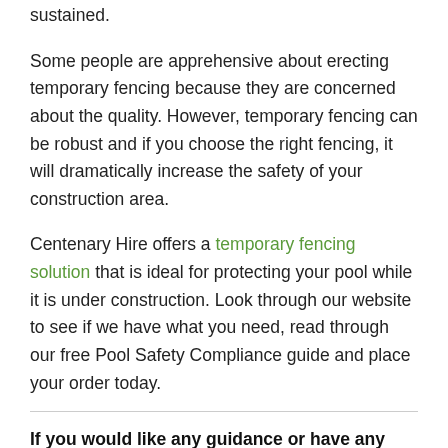sustained.
Some people are apprehensive about erecting temporary fencing because they are concerned about the quality. However, temporary fencing can be robust and if you choose the right fencing, it will dramatically increase the safety of your construction area.
Centenary Hire offers a temporary fencing solution that is ideal for protecting your pool while it is under construction. Look through our website to see if we have what you need, read through our free Pool Safety Compliance guide and place your order today.
If you would like any guidance or have any questions, please do not hesitate to talk with our friendly team at the Hire Desk. Copyright